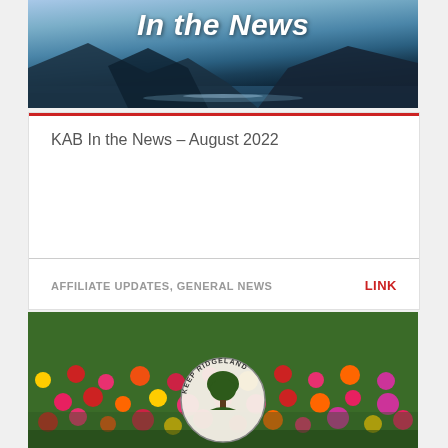[Figure (photo): Hero image with mountain and lake landscape background, with text 'In the News' overlaid in white italic bold font]
KAB In the News – August 2022
AFFILIATE UPDATES, GENERAL NEWS
LINK
[Figure (photo): Field of colorful zinnia flowers (red, pink, yellow, orange) with a circular Keep Ridgeland logo/seal overlaid in the center]